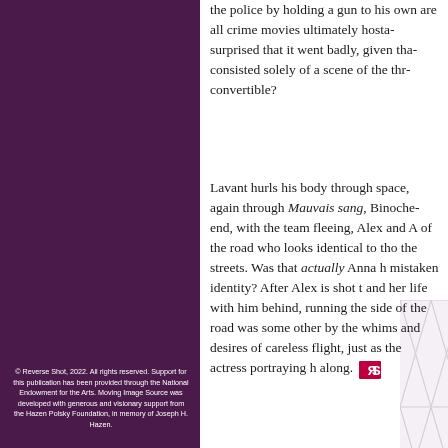the police by holding a gun to his own head are all crime movies ultimately hosta… surprised that it went badly, given that consisted solely of a scene of the thr… convertible?
Lavant hurls his body through space, again through Mauvais sang, Binoche… end, with the team fleeing, Alex and A… of the road who looks identical to tho… the streets. Was that actually Anna h… mistaken identity? After Alex is shot t… and her life with him behind, running the side of the road was some other… by the whims and desires of careless… flight, just as the actress portraying h… along.
© Reverse Shot, 2022. All rights reserved. Support for this publication has been provided through the National Endowment for the Arts. Moving Image Source was developed with generous and visionary support from the Hazen Polsky Foundation, in memory of Joseph H. Hazen.